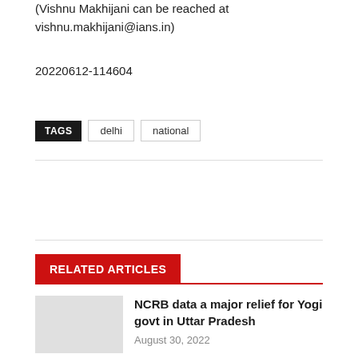(Vishnu Makhijani can be reached at vishnu.makhijani@ians.in)
20220612-114604
TAGS  delhi  national
RELATED ARTICLES
NCRB data a major relief for Yogi govt in Uttar Pradesh
August 30, 2022